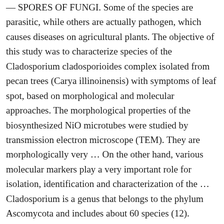— SPORES OF FUNGI. Some of the species are parasitic, while others are actually pathogen, which causes diseases on agricultural plants. The objective of this study was to characterize species of the Cladosporium cladosporioides complex isolated from pecan trees (Carya illinoinensis) with symptoms of leaf spot, based on morphological and molecular approaches. The morphological properties of the biosynthesized NiO microtubes were studied by transmission electron microscope (TEM). They are morphologically very … On the other hand, various molecular markers play a very important role for isolation, identification and characterization of the … Cladosporium is a genus that belongs to the phylum Ascomycota and includes about 60 species (12). Cladosporium cladosporioides and C. pseudocladosporioides grew towards the white rust teliospores and colonized the sporogenous cells, but no direct penetration of teliospores was observed; however, the structure and cytoplasm of teliospores were altered. Introduction. Cladosporium species produce